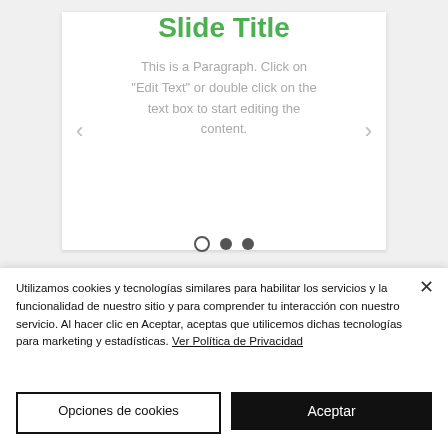Slide Title
This is a Paragraph. Click on "Edit Text" or double click on the text box to start editing the content.
[Figure (other): Slideshow navigation dots: one empty circle (current), two filled circles]
Utilizamos cookies y tecnologías similares para habilitar los servicios y la funcionalidad de nuestro sitio y para comprender tu interacción con nuestro servicio. Al hacer clic en Aceptar, aceptas que utilicemos dichas tecnologías para marketing y estadísticas. Ver Política de Privacidad
Opciones de cookies
Aceptar